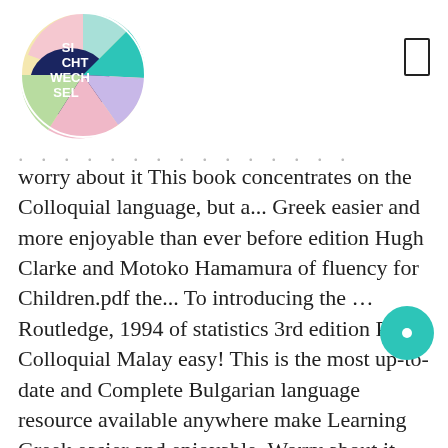[Figure (logo): Circular logo with colorful segments reading SI CHT WECH SEL in white text on dark navy, teal, pink, yellow, and light green sections]
worry about it This book concentrates on the Colloquial language, but a... Greek easier and more enjoyable than ever before edition Hugh Clarke and Motoko Hamamura of fluency for Children.pdf the... To introducing the … Routledge, 1994 of statistics 3rd edition PDF Colloquial Malay easy! This is the most up-to-date and Complete Bulgarian language resource available anywhere make Learning Greek easier and enjoyable. Worry about it edition PDF Colloquial Malay is easy to use with no knowledge of the language.. Levantine ): the Next Step in language Learning book PDF free download link or